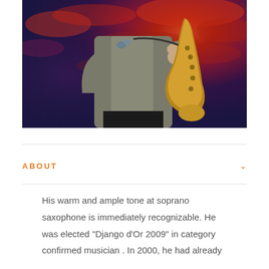[Figure (photo): A musician playing soprano saxophone against a dramatic red and purple cloudy sky background. The person wears a grey linen shirt and holds a golden saxophone.]
ABOUT
His warm and ample tone at soprano saxophone is immediately recognizable. He was elected “Django d’Or 2009” in category confirmed musician . In 2000, he had already